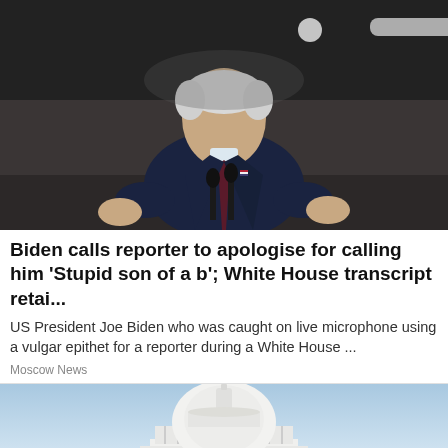[Figure (photo): US President Joe Biden speaking at a podium with microphones, wearing a dark suit and burgundy tie, gesturing with his hands, in a dark industrial or event hall setting]
Biden calls reporter to apologise for calling him 'Stupid son of a b'; White House transcript retai...
US President Joe Biden who was caught on live microphone using a vulgar epithet for a reporter during a White House ...
Moscow News
[Figure (photo): The US Capitol building dome against a light blue sky, seen from below]